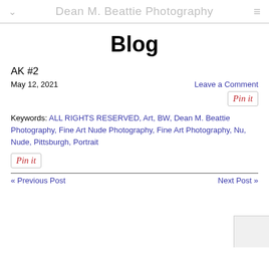Dean M. Beattie Photography
Blog
AK #2
May 12, 2021   Leave a Comment
Keywords: ALL RIGHTS RESERVED, Art, BW, Dean M. Beattie Photography, Fine Art Nude Photography, Fine Art Photography, Nu, Nude, Pittsburgh, Portrait
« Previous Post   Next Post »